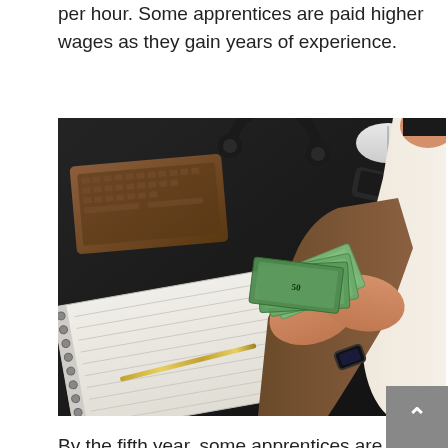per hour. Some apprentices are paid higher wages as they gain years of experience.
[Figure (photo): Person sitting at a dark desk counting cash/dollar bills, with a wooden keyboard, headphones, mouse, phone, and a spiral notebook with a pen visible on the desk surface.]
By the fifth year, some apprentices are making more than $23 per hour. Union apprentices earn approximately 50 percent of the journeyman's